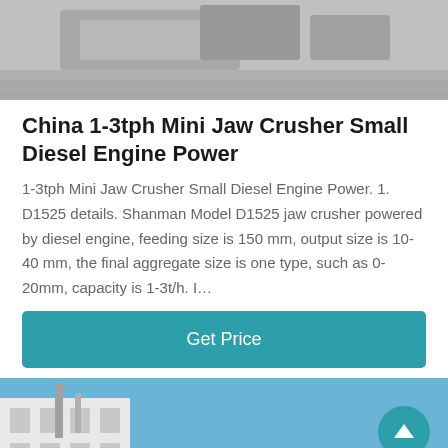[Figure (photo): Top portion of a product image showing industrial equipment on a concrete surface, partially cropped]
China 1-3tph Mini Jaw Crusher Small Diesel Engine Power
1-3tph Mini Jaw Crusher Small Diesel Engine Power. 1. D1525 details. Shanman Model D1525 jaw crusher powered by diesel engine, feeding size is 150 mm, output size is 10-40 mm, the final aggregate size is one type, such as 0-20mm, capacity is 1-3t/h. I…
Get Price
[Figure (photo): Bottom photo showing an industrial building with a blue sky background, with a scroll-to-top button and a footer bar with Leave Message and Chat Online buttons and a chat avatar]
Leave Message
Chat Online